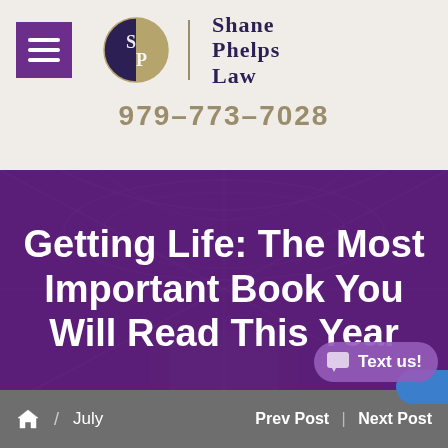[Figure (logo): Shane Phelps Law logo with SP circular emblem and firm name]
979-773-7028
Getting Life: The Most Important Book You Will Read This Year
Text us!
/ July   Prev Post | Next Post